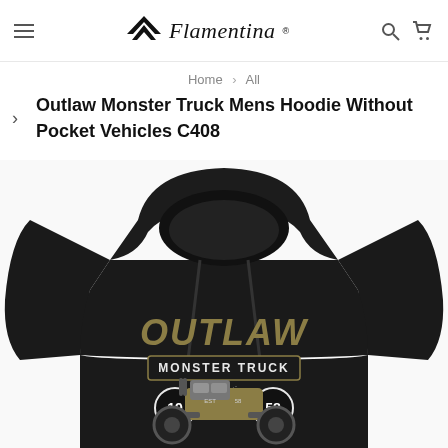Flamentina
Home > All
Outlaw Monster Truck Mens Hoodie Without Pocket Vehicles C408
[Figure (photo): Black hoodie with 'Outlaw Monster Truck' graphic print featuring a monster truck and the text 'authentic est 1958']